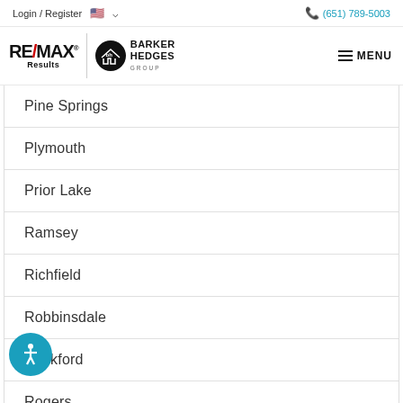Login / Register  🇺🇸  ▾    📞 (651) 789-5003
[Figure (logo): RE/MAX Results and Barker Hedges Group logos with MENU button]
Pine Springs
Plymouth
Prior Lake
Ramsey
Richfield
Robbinsdale
Rockford
Rogers